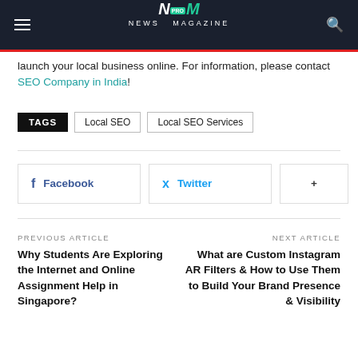NM PRO NEWS MAGAZINE
launch your local business online. For information, please contact SEO Company in India!
TAGS  Local SEO  Local SEO Services
Facebook  Twitter  +
PREVIOUS ARTICLE
Why Students Are Exploring the Internet and Online Assignment Help in Singapore?
NEXT ARTICLE
What are Custom Instagram AR Filters & How to Use Them to Build Your Brand Presence & Visibility